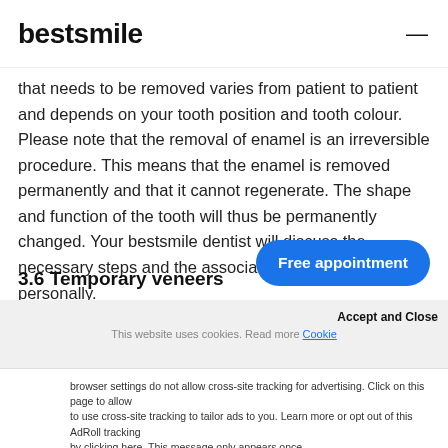bestsmile
that needs to be removed varies from patient to patient and depends on your tooth position and tooth colour. Please note that the removal of enamel is an irreversible procedure. This means that the enamel is removed permanently and that it cannot regenerate. The shape and function of the tooth will thus be permanently changed. Your bestsmile dentist will discuss the necessary steps and the associated risks with you personally.
3.6 Temporary veneers
Free appointment
This website uses cookies. Read more Cookie
Accept and Close
browser settings do not allow cross-site tracking for advertising. Click on this page to allow to use cross-site tracking to tailor ads to you. Learn more or opt out of this AdRoll tracking by clicking here. This message only appears once.